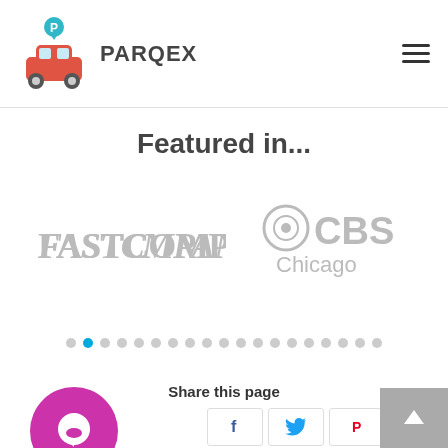PARQEX
Featured in...
[Figure (logo): Fast Company logo in gray]
[Figure (logo): CBS Chicago logo in gray]
[Figure (other): Carousel navigation dots, second dot highlighted in blue]
Share this page
[Figure (other): Magenta circular chat widget icon]
[Figure (other): Social share buttons: Facebook, Twitter, Pinterest, LinkedIn, WhatsApp]
[Figure (other): Gray scroll-to-top button with up arrow]